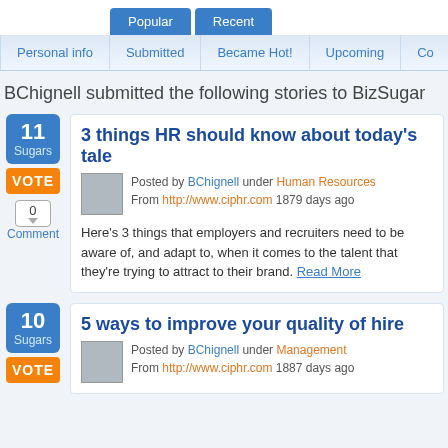[Figure (screenshot): Navigation tabs: Popular (active, blue), Recent (blue)]
[Figure (screenshot): Sub-navigation tabs: Personal info, Submitted, Became Hot!, Upcoming, Co...]
BChignell submitted the following stories to BizSugar
11 Sugars | VOTE | 0 Comment
3 things HR should know about today's tale
Posted by BChignell under Human Resources
From http://www.ciphr.com 1879 days ago
Here's 3 things that employers and recruiters need to be aware of, and adapt to, when it comes to the talent that they're trying to attract to their brand. Read More
10 Sugars | VOTE
5 ways to improve your quality of hire
Posted by BChignell under Management
From http://www.ciphr.com 1887 days ago